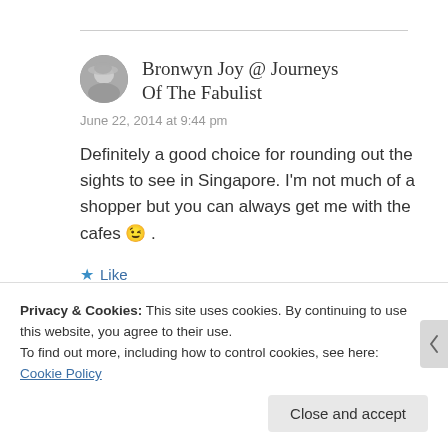Bronwyn Joy @ Journeys Of The Fabulist
June 22, 2014 at 9:44 pm
Definitely a good choice for rounding out the sights to see in Singapore. I'm not much of a shopper but you can always get me with the cafes 😉 .
★ Like
Privacy & Cookies: This site uses cookies. By continuing to use this website, you agree to their use.
To find out more, including how to control cookies, see here:
Cookie Policy
Close and accept